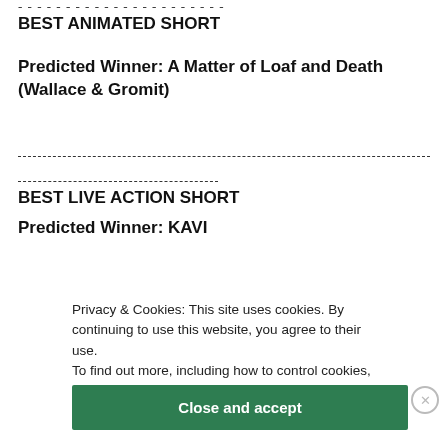BEST ANIMATED SHORT
Predicted Winner: A Matter of Loaf and Death (Wallace & Gromit)
BEST LIVE ACTION SHORT
Predicted Winner: KAVI
Privacy & Cookies: This site uses cookies. By continuing to use this website, you agree to their use.
To find out more, including how to control cookies, see here: Cookie Policy
Close and accept